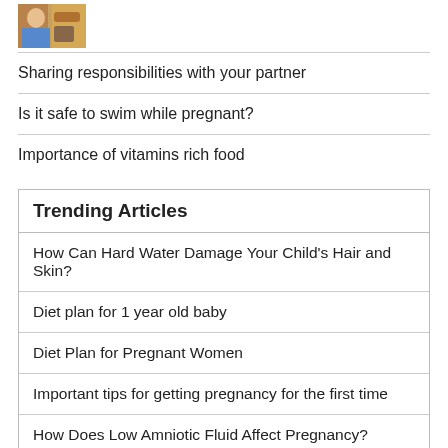[Figure (photo): Small thumbnail image of a person, warm orange/brown tones]
Sharing responsibilities with your partner
Is it safe to swim while pregnant?
Importance of vitamins rich food
Trending Articles
How Can Hard Water Damage Your Child's Hair and Skin?
Diet plan for 1 year old baby
Diet Plan for Pregnant Women
Important tips for getting pregnancy for the first time
How Does Low Amniotic Fluid Affect Pregnancy?
The Uterus Tuberculosis (TB) During Pregnancy
Fancy Dress Ideas for Preschoolers
Exercising towards a flat stomach after pregnancy